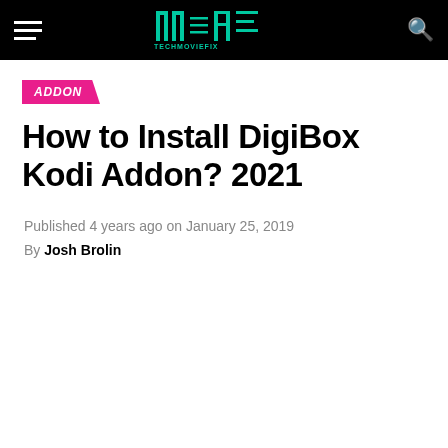ADDON — How to Install DigiBox Kodi Addon? 2021 — TechMF navigation bar
ADDON
How to Install DigiBox Kodi Addon? 2021
Published 4 years ago on January 25, 2019
By Josh Brolin